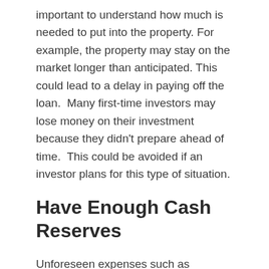important to understand how much is needed to put into the property. For example, the property may stay on the market longer than anticipated. This could lead to a delay in paying off the loan.  Many first-time investors may lose money on their investment because they didn't prepare ahead of time.  This could be avoided if an investor plans for this type of situation.
Have Enough Cash Reserves
Unforeseen expenses such as unplanned vacancies, make-ready costs, damages and maintenance are just a few of the unexpected costs to consider when investing in real estate.  Ensuring that you have sufficient funds set aside for each property to cover these costs is one factor in being successful.